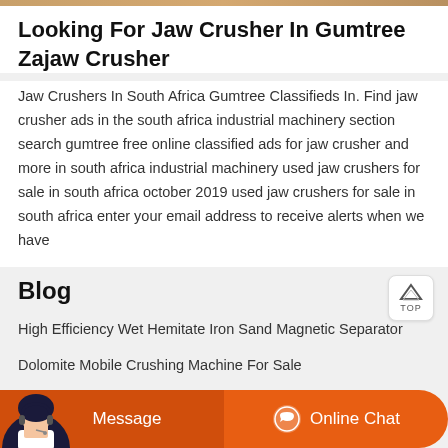Looking For Jaw Crusher In Gumtree Zajaw Crusher
Jaw Crushers In South Africa Gumtree Classifieds In. Find jaw crusher ads in the south africa industrial machinery section search gumtree free online classified ads for jaw crusher and more in south africa industrial machinery used jaw crushers for sale in south africa october 2019 used jaw crushers for sale in south africa enter your email address to receive alerts when we have
Blog
High Efficiency Wet Hemitate Iron Sand Magnetic Separator
Dolomite Mobile Crushing Machine For Sale
Electromagnet For Limestone Belt
Saving Energy Series Impact Crusher For The Quarry For Sale
Message   Online Chat